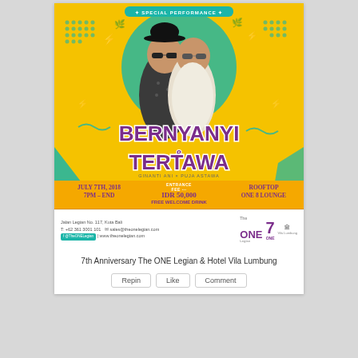[Figure (illustration): Event poster for 'Bernyanyi & Tertawa' (Singing & Laughing) special performance. Yellow background with teal accents. Two male performers standing in center. Event details: July 7th, 2018, 7PM-END, Entrance Fee IDR 50,000 with free welcome drink, Rooftop ONE 8 Lounge. Contact persons: Made Arjawan and Kadek Arjanti.]
[Figure (illustration): Footer strip with venue address: Jalan Legian No. 117, Kuta Bali, phone +62 361 3001 101, email sales@theonelegian.com, social @TheONELegian, website www.theonelegian.com. Logos for The ONE Legian, 7 ONE, and Vila Lumbung.]
7th Anniversary The ONE Legian & Hotel Vila Lumbung
Repin
Like
Comment